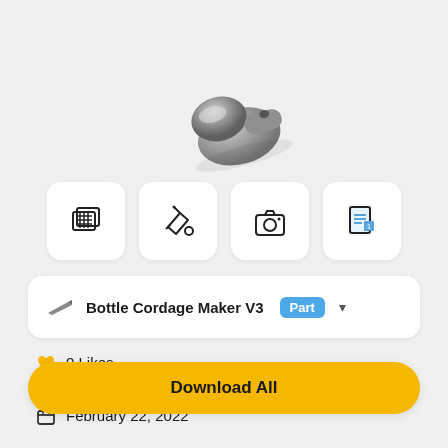[Figure (photo): 3D rendered silver/grey metal part component, partially visible at top of page, floating on grey background]
[Figure (infographic): Four white rounded square icon cards in a row: hatched/layered pages icon, paint bucket/fill icon, camera icon, and file/document icon]
Bottle Cordage Maker V3  Part
0 Likes
0 Downloads
February 22, 2022
Download All